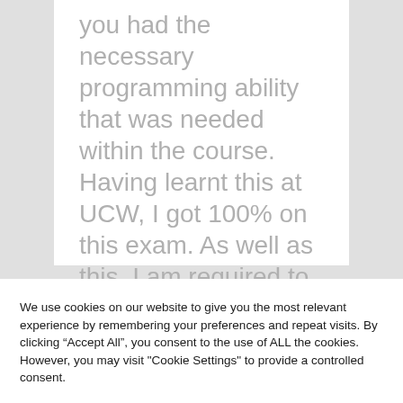you had the necessary programming ability that was needed within the course. Having learnt this at UCW, I got 100% on this exam. As well as this, I am required to graduate with at least a 2-1 in my Bachelor's Degree.
We use cookies on our website to give you the most relevant experience by remembering your preferences and repeat visits. By clicking “Accept All”, you consent to the use of ALL the cookies. However, you may visit "Cookie Settings" to provide a controlled consent.